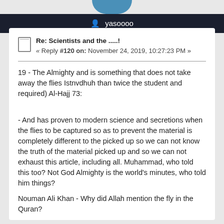yasoooo
Re: Scientists and the .....!
« Reply #120 on: November 24, 2019, 10:27:23 PM »
19 - The Almighty and is something that does not take away the flies Istnvdhuh than twice the student and required) Al-Hajj 73:
- And has proven to modern science and secretions when the flies to be captured so as to prevent the material is completely different to the picked up so we can not know the truth of the material picked up and so we can not exhaust this article, including all. Muhammad, who told this too? Not God Almighty is the world's minutes, who told him things?
Nouman Ali Khan - Why did Allah mention the fly in the Quran?